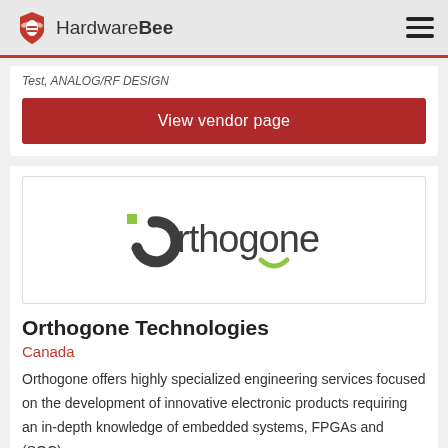HardwareBee
Test, ANALOG/RF DESIGN
View vendor page
[Figure (logo): Orthogone Technologies logo — dark grey arc/circle letter O with green square accent, followed by 'rthogone' in dark grey, with a green smile-like arc beneath the 'o']
Orthogone Technologies
Canada
Orthogone offers highly specialized engineering services focused on the development of innovative electronic products requiring an in-depth knowledge of embedded systems, FPGAs and (SOC).